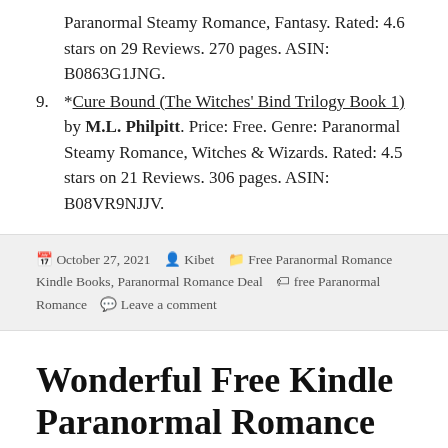Paranormal Steamy Romance, Fantasy. Rated: 4.6 stars on 29 Reviews. 270 pages. ASIN: B0863G1JNG.
9. *Cure Bound (The Witches' Bind Trilogy Book 1) by M.L. Philpitt. Price: Free. Genre: Paranormal Steamy Romance, Witches & Wizards. Rated: 4.5 stars on 21 Reviews. 306 pages. ASIN: B08VR9NJJV.
October 27, 2021   Kibet   Free Paranormal Romance Kindle Books, Paranormal Romance Deal   free Paranormal Romance   Leave a comment
Wonderful Free Kindle Paranormal Romance Books, Deals